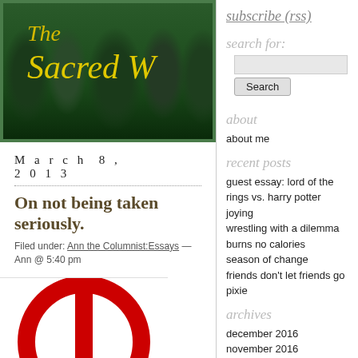[Figure (photo): Blog header banner showing 'The Sacred W...' text in yellow/gold italic font over a dark green forest background]
March 8, 2013
On not being taken seriously.
Filed under: Ann the Columnist:Essays — Ann @ 5:40 pm
[Figure (illustration): Partial view of a red circle/peace sign symbol on white background]
subscribe (rss)
search for:
Search
about
about me
recent posts
guest essay: lord of the rings vs. harry potter
joying
wrestling with a dilemma burns no calories
season of change
friends don't let friends go pixie
archives
december 2016
november 2016
october 2016
september 2016
august 2016
june 2016
april 2016